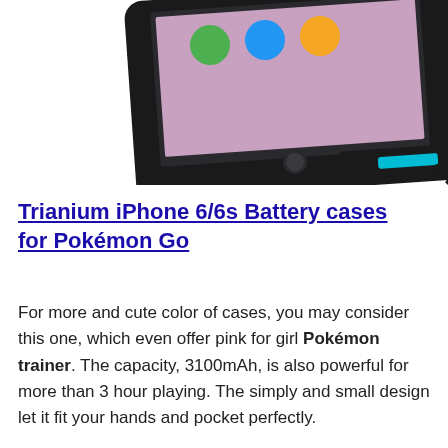[Figure (photo): Photo of a black iPhone 6/6s in a battery case with a teal lightning cable connector visible, shown at an angle from above against a white background.]
Trianium iPhone 6/6s Battery cases for Pokémon Go
For more and cute color of cases, you may consider this one, which even offer pink for girl Pokémon trainer. The capacity, 3100mAh, is also powerful for more than 3 hour playing. The simply and small design let it fit your hands and pocket perfectly.